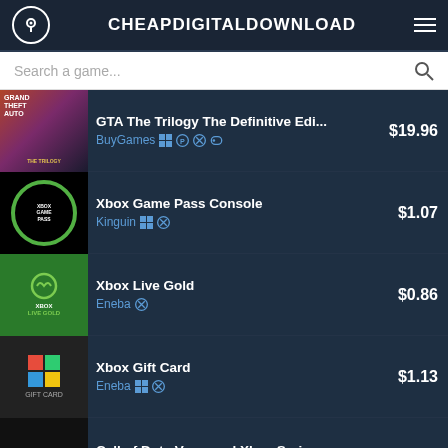CHEAPDIGITALDOWNLOAD
Search a game...
| Game | Store / Platform | Price |
| --- | --- | --- |
| GTA The Trilogy The Definitive Edi... | BuyGames [Windows][PS][Xbox][Nintendo] | $19.96 |
| Xbox Game Pass Console | Kinguin [Windows][Xbox] | $1.07 |
| Xbox Live Gold | Eneba [Xbox] | $0.86 |
| Xbox Gift Card | Eneba [Windows][Xbox] | $1.13 |
| Call of Duty Vanguard Xbox Series | BuyGames [Windows][PS][Xbox] | $23.34 |
We use cookies to ensure that we give you the best experience on our website. If you continue to use this site we will assume that you are happy with it.
Ok | Read more | Help